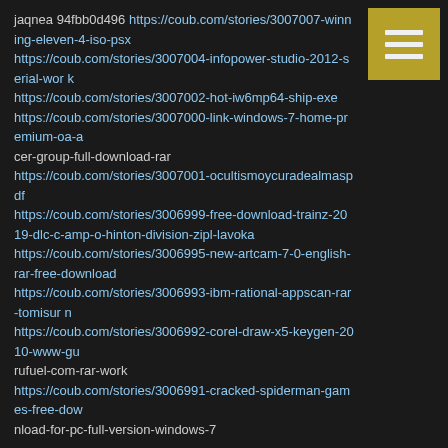jaqnea 94fbb0d496 https://coub.com/stories/3007007-winning-eleven-4-iso-psx https://coub.com/stories/3007004-infopower-studio-2012-serial-work https://coub.com/stories/3007002-hot-iw6mp64-ship-exe https://coub.com/stories/3007000-link-windows-7-home-premium-oa-a cer-group-full-download-rar https://coub.com/stories/3007001-ocultismoycuradealmaspdf https://coub.com/stories/3006999-free-download-trainz-2019-dlc-camp-o-hinton-division-zipl-lavoka https://coub.com/stories/3006995-new-artcam-7-0-english-rar-free-download https://coub.com/stories/3006993-ibm-rational-appscan-rar-tomisurn https://coub.com/stories/3006992-corel-draw-x5-keygen-2010-www-gu rufuel-com-rar-work https://coub.com/stories/3006991-cracked-spiderman-games-free-dow nload-for-pc-full-version-windows-7
jaqnea 8:46 PM on January 24, 2022
jaqnea 94fbb0d496 https://coub.com/stories/3007007-winning-eleven-4-iso-psx https://coub.com/stories/3007004-infopower-studio-2012-serial-wor